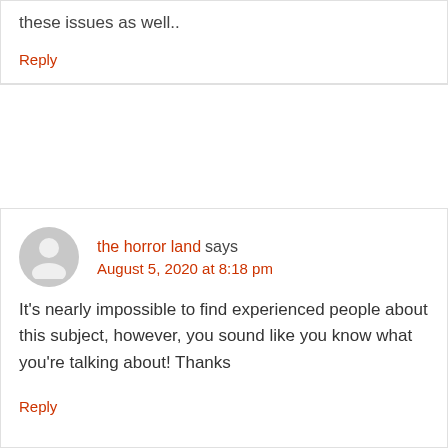these issues as well..
Reply
the horror land says
August 5, 2020 at 8:18 pm
It’s nearly impossible to find experienced people about this subject, however, you sound like you know what you’re talking about! Thanks
Reply